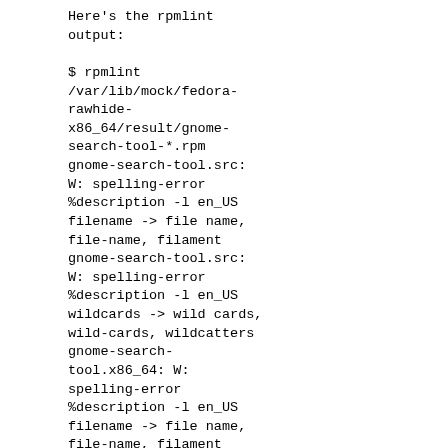Here's the rpmlint output:

$ rpmlint /var/lib/mock/fedora-rawhide-x86_64/result/gnome-search-tool-*.rpm
gnome-search-tool.src: W: spelling-error %description -l en_US filename -> file name, file-name, filament
gnome-search-tool.src: W: spelling-error %description -l en_US wildcards -> wild cards, wild-cards, wildcatters
gnome-search-tool.x86_64: W: spelling-error %description -l en_US filename -> file name, file-name, filament
gnome-search-tool.x86_64: W: spelling-error %description -l en_US wildcards -> wild cards, wild-cards, wildcatters